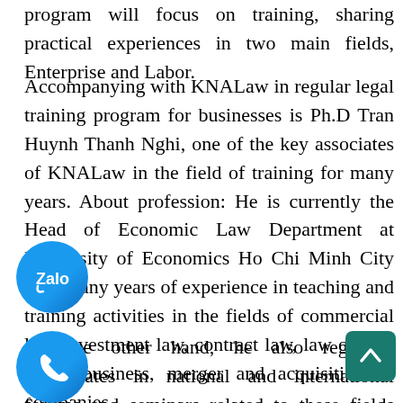program will focus on training, sharing practical experiences in two main fields, Enterprise and Labor.
Accompanying with KNALaw in regular legal training program for businesses is Ph.D Tran Huynh Thanh Nghi, one of the key associates of KNALaw in the field of training for many years. About profession: He is currently the Head of Economic Law Department at University of Economics Ho Chi Minh City with many years of experience in teaching and training activities in the fields of commercial law, investment law, contract law, law on real estate business, merger and acquisition of companies.
On the other hand, he also regularly participates in national and international forums and seminars related to these fields and is the author of many highly